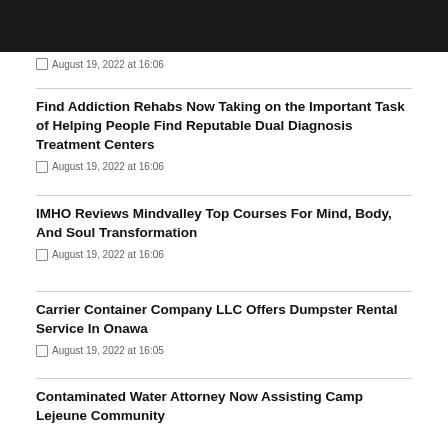August 19, 2022 at 16:06
Find Addiction Rehabs Now Taking on the Important Task of Helping People Find Reputable Dual Diagnosis Treatment Centers
August 19, 2022 at 16:06
IMHO Reviews Mindvalley Top Courses For Mind, Body, And Soul Transformation
August 19, 2022 at 16:06
Carrier Container Company LLC Offers Dumpster Rental Service In Onawa
August 19, 2022 at 16:05
Contaminated Water Attorney Now Assisting Camp Lejeune Community